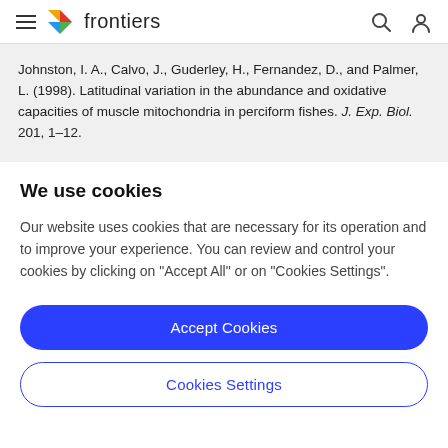frontiers
Johnston, I. A., Calvo, J., Guderley, H., Fernandez, D., and Palmer, L. (1998). Latitudinal variation in the abundance and oxidative capacities of muscle mitochondria in perciform fishes. J. Exp. Biol. 201, 1–12.
We use cookies
Our website uses cookies that are necessary for its operation and to improve your experience. You can review and control your cookies by clicking on "Accept All" or on "Cookies Settings".
Accept Cookies
Cookies Settings